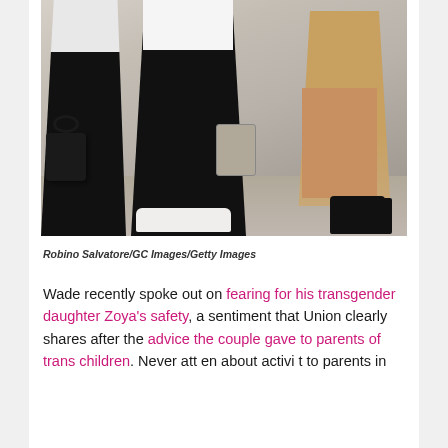[Figure (photo): Photo of three people walking, cropped at waist/legs level. One person on the left wears a white shirt and carries a black bag, center person wears black pants and white sneakers, right person wears a tan/beige short skirt and black heels and carries a patterned bag.]
Robino Salvatore/GC Images/Getty Images
Wade recently spoke out on fearing for his transgender daughter Zoya's safety, a sentiment that Union clearly shares after the advice the couple gave to parents of trans children. Never att en about activi t to parents in